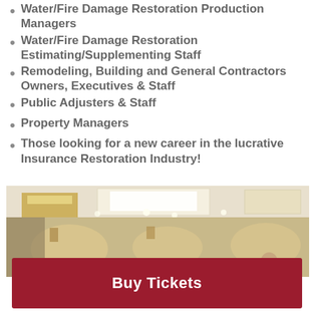Water/Fire Damage Restoration Production Managers
Water/Fire Damage Restoration Estimating/Supplementing Staff
Remodeling, Building and General Contractors Owners, Executives & Staff
Public Adjusters & Staff
Property Managers
Those looking for a new career in the lucrative Insurance Restoration Industry!
[Figure (photo): Interior conference or banquet room with warm lighting, square ceiling light fixtures, and a presenter visible in the lower right corner with hands raised.]
Buy Tickets